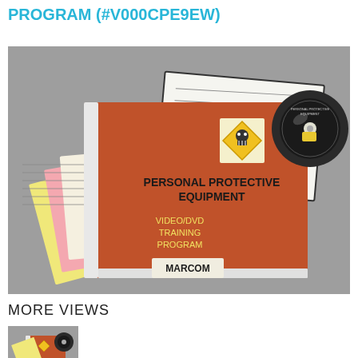PROGRAM (#V000CPE9EW)
[Figure (photo): Product photo showing a MARCOM Personal Protective Equipment Video/DVD Training Program binder (terracotta/orange cover) with hazard warning diamond symbol sticker, a DVD disc, and several yellow, pink and white paper forms/documents fanned out behind it, all on a gray surface.]
MORE VIEWS
[Figure (photo): Small thumbnail of the same MARCOM Personal Protective Equipment Video/DVD Training Program product — binder, DVD, and forms on gray background.]